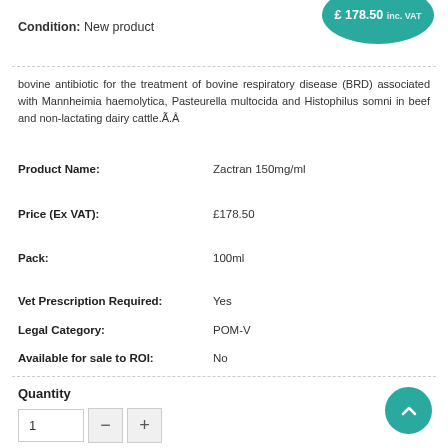Condition: New product
bovine antibiotic for the treatment of bovine respiratory disease (BRD) associated with Mannheimia haemolytica, Pasteurella multocida and Histophilus somni in beef and non-lactating dairy cattle.Ã.Â
Product Name: Zactran 150mg/ml
Price (Ex VAT): £178.50
Pack: 100ml
Vet Prescription Required: Yes
Legal Category: POM-V
Available for sale to ROI: No
Quantity
1